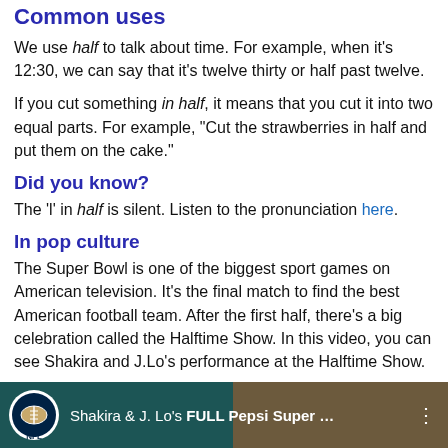Common uses
We use half to talk about time. For example, when it's 12:30, we can say that it's twelve thirty or half past twelve.
If you cut something in half, it means that you cut it into two equal parts. For example, “Cut the strawberries in half and put them on the cake.”
Did you know?
The ‘l’ in half is silent. Listen to the pronunciation here.
In pop culture
The Super Bowl is one of the biggest sport games on American television. It’s the final match to find the best American football team. After the first half, there’s a big celebration called the Halftime Show. In this video, you can see Shakira and J.Lo’s performance at the Halftime Show.
[Figure (screenshot): YouTube video thumbnail showing NFL logo and title 'Shakira & J. Lo's FULL Pepsi Super...' with a performance photo on the right half]